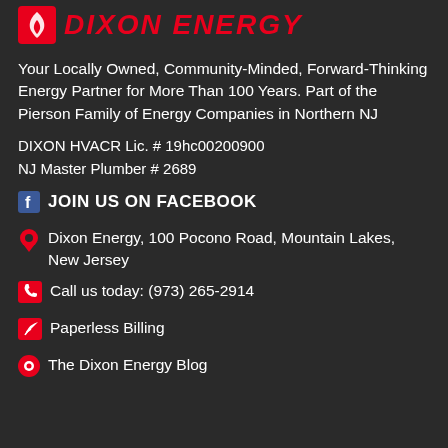[Figure (logo): Dixon Energy logo with flame icon and red italic text 'DIXON ENERGY']
Your Locally Owned, Community-Minded, Forward-Thinking Energy Partner for More Than 100 Years. Part of the Pierson Family of Energy Companies in Northern NJ
DIXON HVACR Lic. # 19hc00200900
NJ Master Plumber # 2689
JOIN US ON FACEBOOK
Dixon Energy, 100 Pocono Road, Mountain Lakes, New Jersey
Call us today: (973) 265-2914
Paperless Billing
The Dixon Energy Blog